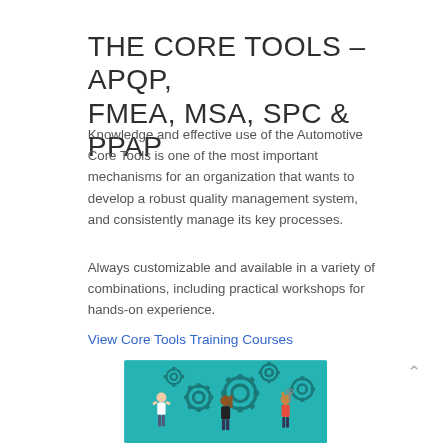THE CORE TOOLS – APQP, FMEA, MSA, SPC & PPAP
Knowledge and effective use of the Automotive Core Tools is one of the most important mechanisms for an organization that wants to develop a robust quality management system, and consistently manage its key processes.
Always customizable and available in a variety of combinations, including practical workshops for hands-on experience.
View Core Tools Training Courses
[Figure (illustration): Illustration on teal/turquoise background showing cartoon people holding and interacting with large interlocking gears, representing teamwork and industrial/quality processes.]